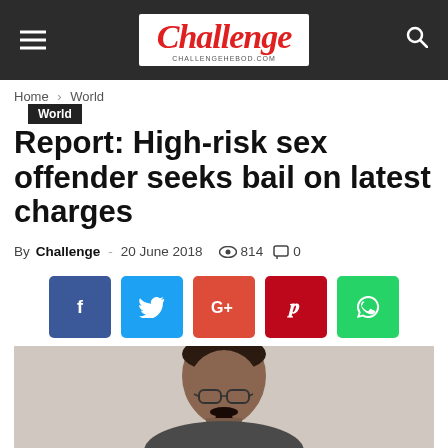Challenge — CHALLENGEHEBOD.COM
Home › World
World
Report: High-risk sex offender seeks bail on latest charges
By Challenge - 20 June 2018  ● 814  ● 0
[Figure (other): Social media share buttons: Facebook, Twitter, Google+, Pinterest, WhatsApp]
[Figure (photo): Mugshot-style photo of a man with dark hair, glasses, and a goatee, against a light gray background]